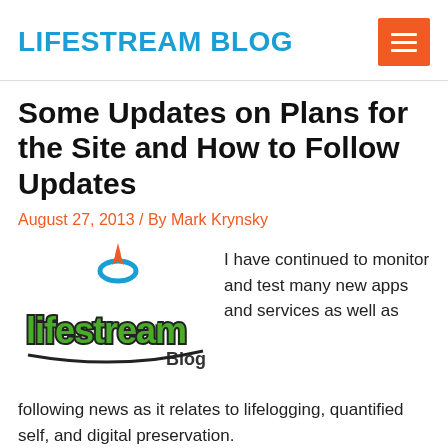LIFESTREAM BLOG
Some Updates on Plans for the Site and How to Follow Updates
August 27, 2013 / By Mark Krynsky
[Figure (logo): Lifestream Blog logo with stylized green cursive text and orange/blue flame-like icon]
I have continued to monitor and test many new apps and services as well as following news as it relates to lifelogging, quantified self, and digital preservation.